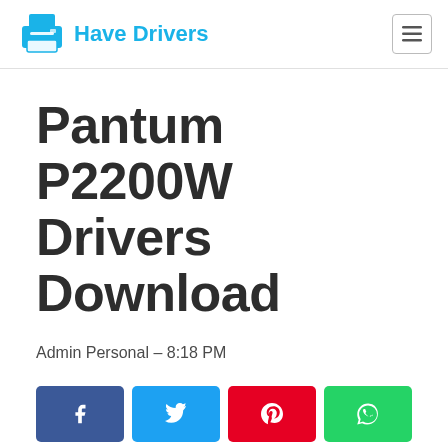Have Drivers
Pantum P2200W Drivers Download
Admin Personal – 8:18 PM
[Figure (other): Social share buttons: Facebook (blue), Twitter (cyan), Pinterest (red), WhatsApp (green)]